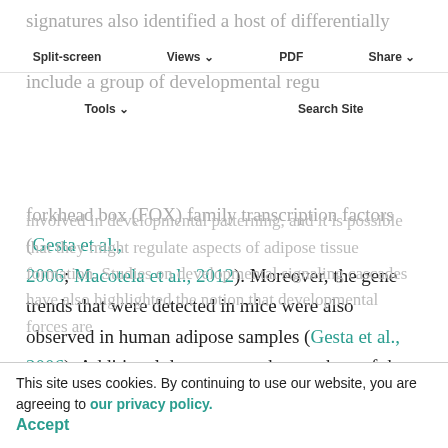Split-screen   Views   PDF   Share
Tools   Search Site
signatures also identified a host of differentially expressed transcripts (Gesta et al., 2006). These include a group of developmental regulators such as homeobox (HOX) and forkhead box (FOX) family transcription factors (Gesta et al., 2006; Macotela et al., 2012). Moreover, the gene trends that were detected in mice were also observed in human adipose samples (Gesta et al., 2006). Additional data suggest that a subset of these genes correlate with body mass index (BMI) and by extension relate to metabolic dysfunction and cardiovascular disease (Gesta et al., 2006). The role of these genes in fat formation and regulation remains unclear. However, many of the identified genes are
involved in developmental patterning, and it is possible that they might regulate aspects of adipose tissue formation. Studies on developmental signaling cascades have also highlighted the notion that developmental forces are
This site uses cookies. By continuing to use our website, you are agreeing to our privacy policy. Accept